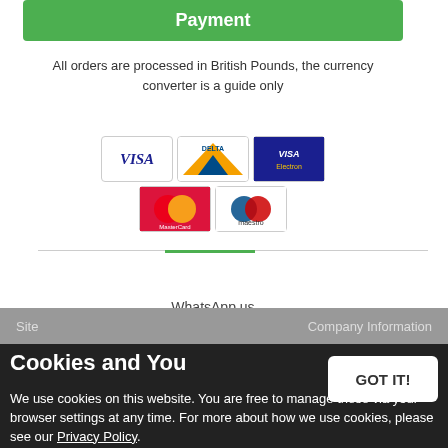Payment
All orders are processed in British Pounds, the currency converter is a guide only
[Figure (illustration): Payment card icons: Visa, Delta, Visa Electron, MasterCard, Maestro]
WhatsApp us +447752208683
Site   Company Information
Cookies and You
We use cookies on this website. You are free to manage these via your browser settings at any time. For more about how we use cookies, please see our Privacy Policy.